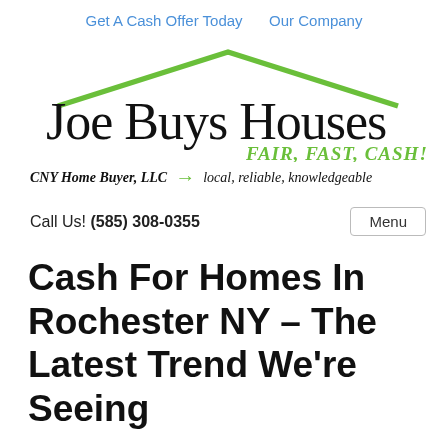Get A Cash Offer Today   Our Company
[Figure (logo): Joe Buys Houses logo with green roof/chevron shape above handwritten text 'Joe Buys Houses' and green italic text 'FAIR, FAST, CASH!']
CNY Home Buyer, LLC → local, reliable, knowledgeable
Call Us! (585) 308-0355    Menu
Cash For Homes In Rochester NY – The Latest Trend We're Seeing